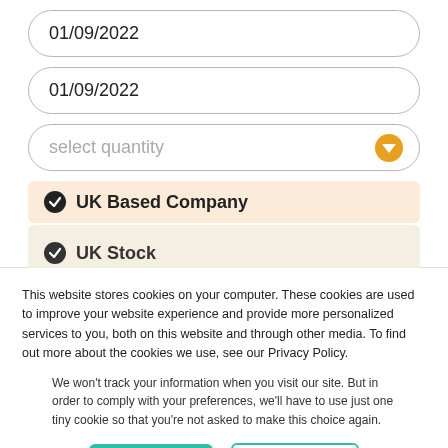01/09/2022
01/09/2022
select quantity
✔ UK Based Company
✔ UK Stock
This website stores cookies on your computer. These cookies are used to improve your website experience and provide more personalized services to you, both on this website and through other media. To find out more about the cookies we use, see our Privacy Policy.
We won't track your information when you visit our site. But in order to comply with your preferences, we'll have to use just one tiny cookie so that you're not asked to make this choice again.
Accept
Decline